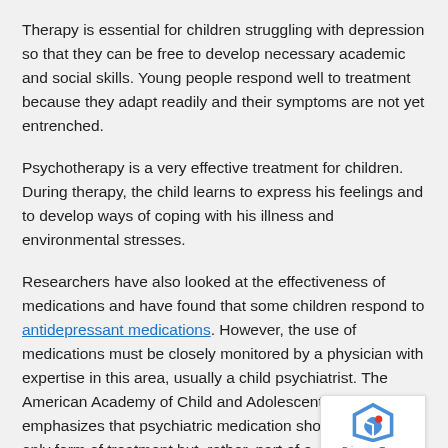Therapy is essential for children struggling with depression so that they can be free to develop necessary academic and social skills. Young people respond well to treatment because they adapt readily and their symptoms are not yet entrenched.
Psychotherapy is a very effective treatment for children. During therapy, the child learns to express his feelings and to develop ways of coping with his illness and environmental stresses.
Researchers have also looked at the effectiveness of medications and have found that some children respond to antidepressant medications. However, the use of medications must be closely monitored by a physician with expertise in this area, usually a child psychiatrist. The American Academy of Child and Adolescent Psych… emphasizes that psychiatric medication should no… the only form of treatment but, rather, part of a